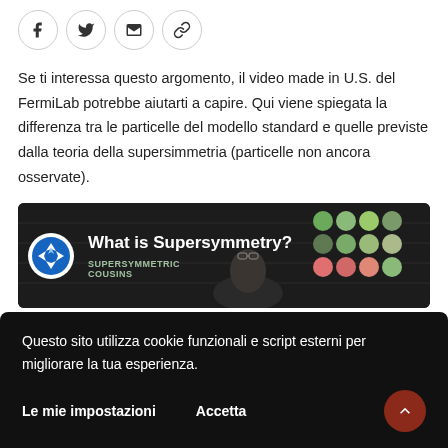[Figure (other): Social sharing icons: Facebook, Twitter, Email, Link]
Se ti interessa questo argomento, il video made in U.S. del FermiLab potrebbe aiutarti a capire. Qui viene spiegata la differenza tra le particelle del modello standard e quelle previste dalla teoria della supersimmetria (particelle non ancora osservate).
[Figure (screenshot): YouTube video thumbnail for 'What is Supersymmetry?' by FermiLab, showing colorful particle balls and a presenter, with SUPERSYMMETRIC COUSINS subtitle]
Questo sito utilizza cookie funzionali e script esterni per migliorare la tua esperienza.
Le mie impostazioni   Accetta